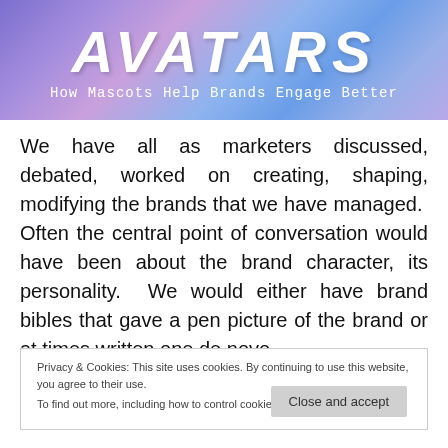[Figure (illustration): Banner image with purple/blue gradient background showing the title 'AVATARS' in large white italic letters and subtitle 'How Mascots Help Brands Engage Better']
We have all as marketers discussed, debated, worked on creating, shaping, modifying the brands that we have managed.  Often the central point of conversation would have been about the brand character, its personality.  We would either have brand bibles that gave a pen picture of the brand or at times written one de novo.
Privacy & Cookies: This site uses cookies. By continuing to use this website, you agree to their use.
To find out more, including how to control cookies, see here: Cookie Policy
Close and accept